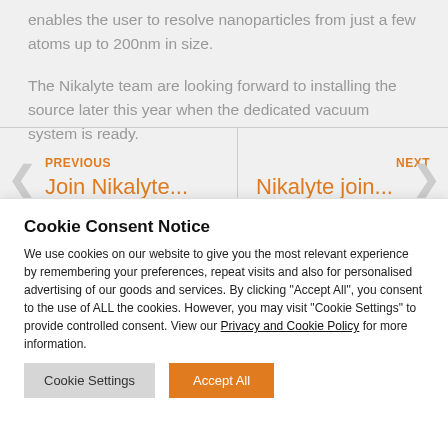enables the user to resolve nanoparticles from just a few atoms up to 200nm in size.
The Nikalyte team are looking forward to installing the source later this year when the dedicated vacuum system is ready.
PREVIOUS
Join Nikalyte...
NEXT
Nikalyte join...
Cookie Consent Notice
We use cookies on our website to give you the most relevant experience by remembering your preferences, repeat visits and also for personalised advertising of our goods and services. By clicking "Accept All", you consent to the use of ALL the cookies. However, you may visit "Cookie Settings" to provide controlled consent. View our Privacy and Cookie Policy for more information.
Cookie Settings
Accept All